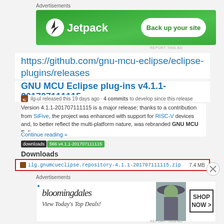[Figure (screenshot): Jetpack advertisement banner — green background with Jetpack logo and 'Back up your site' button]
Advertisements
REPORT THIS AD
https://github.com/gnu-mcu-eclipse/eclipse-plugins/releases
GNU MCU Eclipse plug-ins v4.1.1-201707111115
ilg-ul released this 19 days ago · 4 commits to develop since this release
Version 4.1.1-201707111115 is a major release; thanks to a contribution from SiFive, the project was enhanced with support for RISC-V devices and, to better reflect the multi-platform nature, was rebranded GNU MCU Eclipse.
Continue reading »
downloads 566 v4.1.1-201707111115
Downloads
ilg.gnumcueclipse.repository-4.1.1-201707111115.zip    7.4 MB
[Figure (screenshot): Bloomingdale's advertisement banner — white background with logo, 'View Today's Top Deals!' text, woman with hat image, and 'SHOP NOW >' button]
Advertisements
REPORT THIS AD